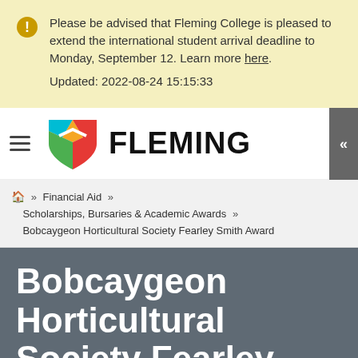Please be advised that Fleming College is pleased to extend the international student arrival deadline to Monday, September 12. Learn more here.
Updated: 2022-08-24 15:15:33
[Figure (logo): Fleming College logo with colorful shield and FLEMING wordmark]
Home » Financial Aid » Scholarships, Bursaries & Academic Awards » Bobcaygeon Horticultural Society Fearley Smith Award
Bobcaygeon Horticultural Society Fearley...